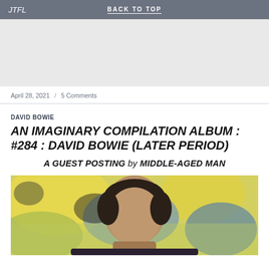JTFL | BACK TO TOP
[Figure (other): Gray advertisement/banner space]
April 28, 2021  /  5 Comments
DAVID BOWIE
AN IMAGINARY COMPILATION ALBUM : #284 : DAVID BOWIE (LATER PERIOD)
A GUEST POSTING by MIDDLE-AGED MAN
[Figure (photo): Photo of David Bowie against a colorful painted background]